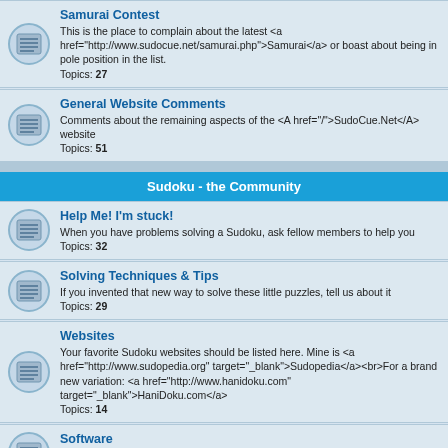Samurai Contest
This is the place to complain about the latest <a href="http://www.sudocue.net/samurai.php">Samurai</a> or boast about being in pole position in the list.
Topics: 27
General Website Comments
Comments about the remaining aspects of the <A href="/">SudoCue.Net</A> website
Topics: 51
Sudoku - the Community
Help Me! I'm stuck!
When you have problems solving a Sudoku, ask fellow members to help you
Topics: 32
Solving Techniques & Tips
If you invented that new way to solve these little puzzles, tell us about it
Topics: 29
Websites
Your favorite Sudoku websites should be listed here. Mine is <a href="http://www.sudopedia.org" target="_blank">Sudopedia</a><br>For a brand new variation: <a href="http://www.hanidoku.com" target="_blank">HaniDoku.com</a>
Topics: 14
Software
If you have written the best solver, generator, or helper, we should know about it
Topics: 15
Puzzles